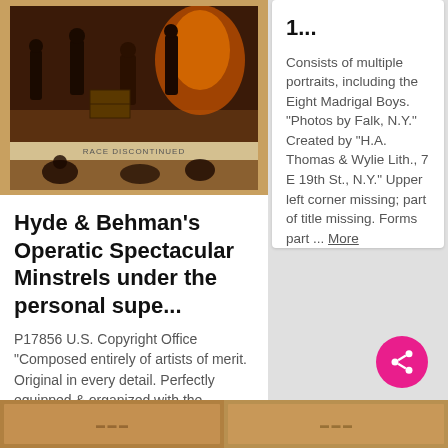[Figure (illustration): Historical minstrel show poster illustration showing figures in a theatrical scene, with text 'RACE DISCONTINUED' visible in the middle]
Hyde & Behman's Operatic Spectacular Minstrels under the personal supe...
P17856 U.S. Copyright Office "Composed entirely of artists of merit. Original in every detail. Perfectly equipped & organized with the intention of presenting minstrelsy as an art ... Reserved seats at usual pl... More
1...
Consists of multiple portraits, including the Eight Madrigal Boys. "Photos by Falk, N.Y." Created by "H.A. Thomas & Wylie Lith., 7 E 19th St., N.Y." Upper left corner missing; part of title missing. Forms part ... More
[Figure (photo): Partial thumbnail of a historical document or poster visible at bottom left]
[Figure (photo): Partial thumbnail of a historical document visible at bottom right]